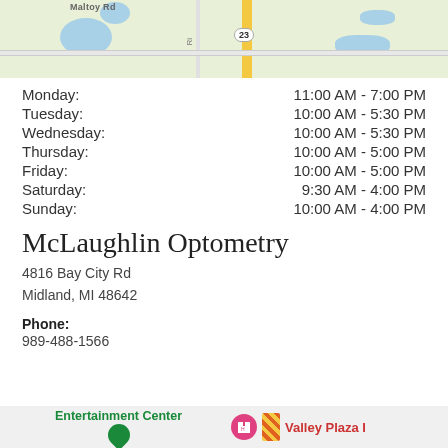[Figure (map): Top portion of a Google Maps view showing roads and water features near McLaughlin Optometry location]
Monday: 11:00 AM - 7:00 PM
Tuesday: 10:00 AM - 5:30 PM
Wednesday: 10:00 AM - 5:30 PM
Thursday: 10:00 AM - 5:00 PM
Friday: 10:00 AM - 5:00 PM
Saturday: 9:30 AM - 4:00 PM
Sunday: 10:00 AM - 4:00 PM
McLaughlin Optometry
4816 Bay City Rd
Midland, MI 48642
Phone: 989-488-1566
[Figure (map): Bottom portion of a Google Maps view showing Entertainment Center and Valley Plaza I nearby]